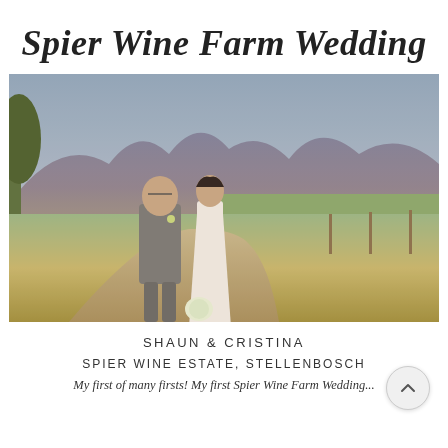Spier Wine Farm Wedding
[Figure (photo): Outdoor wedding photo of a couple (groom in grey suit, bride in white dress holding a bouquet) walking on a dirt path with golden grass fields and mountain range in the background. Warm golden hour lighting.]
SHAUN & CRISTINA
SPIER WINE ESTATE, STELLENBOSCH
My first of many firsts! My first Spier Wine Farm Wedding...